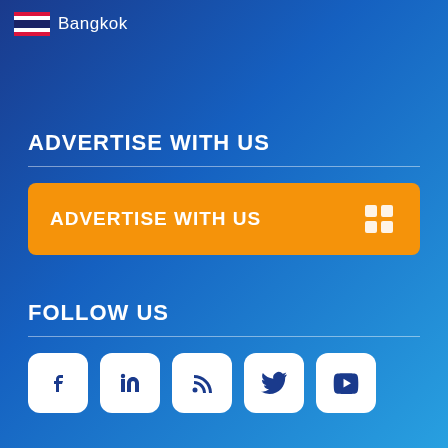Bangkok
ADVERTISE WITH US
ADVERTISE WITH US
FOLLOW US
[Figure (infographic): Social media icons: Facebook, LinkedIn, RSS, Twitter, YouTube]